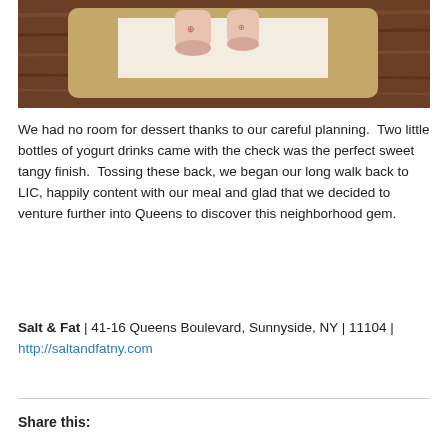[Figure (photo): Two small bottles of yogurt drinks on a white paper receipt on a tan/beige wooden tray, placed on a wooden table surface. Photo taken from above at an angle.]
We had no room for dessert thanks to our careful planning.  Two little bottles of yogurt drinks came with the check was the perfect sweet tangy finish.  Tossing these back, we began our long walk back to LIC, happily content with our meal and glad that we decided to venture further into Queens to discover this neighborhood gem.
Salt & Fat | 41-16 Queens Boulevard, Sunnyside, NY | 11104 | http://saltandfatny.com
Share this: